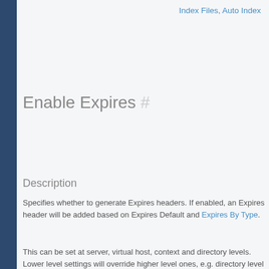Index Files, Auto Index
Enable Expires #
Description
Specifies whether to generate Expires headers. If enabled, an Expires header will be added based on Expires Default and Expires By Type.
This can be set at server, virtual host, context and directory levels. Lower level settings will override higher level ones, e.g. directory level settings will override virtual host settings and server settings.
Syntax
Select from radio box
Expires Default #